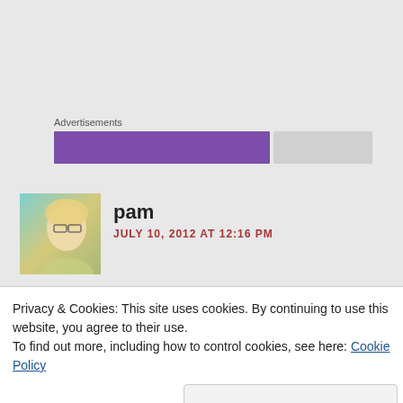Advertisements
[Figure (other): Advertisement placeholder bars: a wide purple bar and a shorter gray bar side by side]
[Figure (photo): Avatar photo of user 'pam' - a woman with glasses and blonde hair, teal/yellow tones]
pam
JULY 10, 2012 AT 12:16 PM
Gorgeous garden photos!! Thank you for linking up!
Like
Privacy & Cookies: This site uses cookies. By continuing to use this website, you agree to their use.
To find out more, including how to control cookies, see here: Cookie Policy
Close and accept